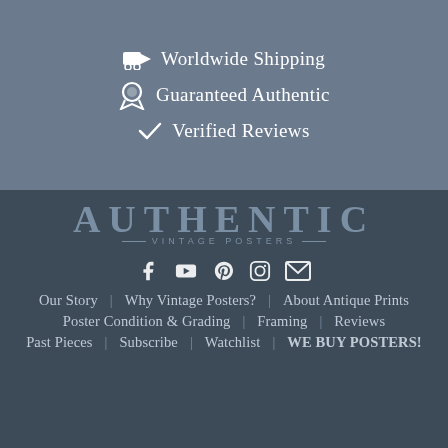🚚 Worldwide Shipping
🏅 Guaranteed Authentic
✓ Verified Reviews
[Figure (logo): Authentic Vintage Posters brand logo with bracketed sub-text]
[Figure (infographic): Social media icons: Facebook, YouTube, Pinterest, Instagram, Email]
Our Story   Why Vintage Posters?   About Antique Prints
Poster Condition & Grading   Framing   Reviews
Past Pieces   Subscribe   Watchlist   WE BUY POSTERS!